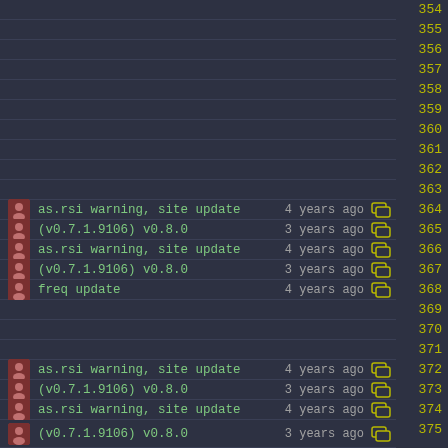354 (empty)
355 (empty)
356 (empty)
357 (empty)
358 (empty)
359 (empty)
360 (empty)
361 (empty)
362 (empty)
363 (empty)
364 as.rsi warning, site update 4 years ago
365 (v0.7.1.9106) v0.8.0 3 years ago
366 as.rsi warning, site update 4 years ago
367 (v0.7.1.9106) v0.8.0 3 years ago
368 freq update 4 years ago
369 (empty)
370 (empty)
371 (empty)
372 as.rsi warning, site update 4 years ago
373 (v0.7.1.9106) v0.8.0 3 years ago
374 as.rsi warning, site update 4 years ago
375 (v0.7.1.9106) v0.8.0 3 years ago (partial)